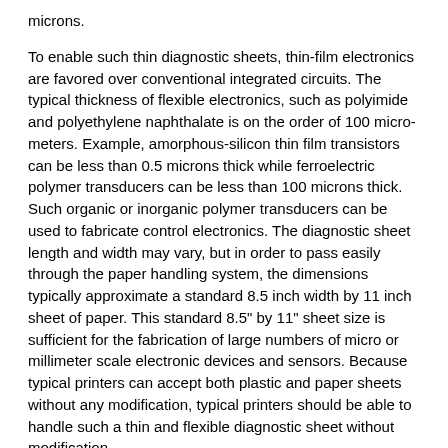microns.
To enable such thin diagnostic sheets, thin-film electronics are favored over conventional integrated circuits. The typical thickness of flexible electronics, such as polyimide and polyethylene naphthalate is on the order of 100 micrometers. Example, amorphous-silicon thin film transistors can be less than 0.5 microns thick while ferroelectric polymer transducers can be less than 100 microns thick. Such organic or inorganic polymer transducers can be used to fabricate control electronics. The diagnostic sheet length and width may vary, but in order to pass easily through the paper handling system, the dimensions typically approximate a standard 8.5 inch width by 11 inch sheet of paper. This standard 8.5" by 11" sheet size is sufficient for the fabrication of large numbers of micro or millimeter scale electronic devices and sensors. Because typical printers can accept both plastic and paper sheets without any modification, typical printers should be able to handle such a thin and flexible diagnostic sheet without modification.
A power source 408 powers the sensors and other